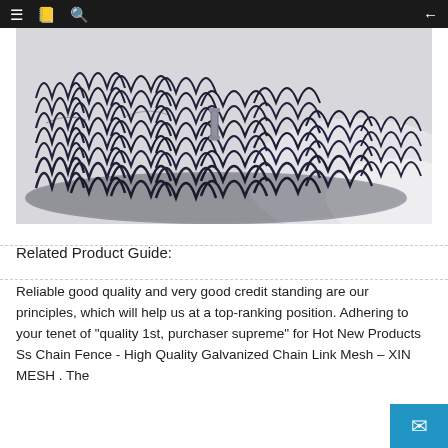≡  📋  🔍  ←
[Figure (photo): A coiled roll of dark navy/black chain link mesh fencing material piled on a white background. The interlocking wire loops are clearly visible forming a dense, textured mass.]
Related Product Guide:
Reliable good quality and very good credit standing are our principles, which will help us at a top-ranking position. Adhering to your tenet of "quality 1st, purchaser supreme" for Hot New Products Ss Chain Fence - High Quality Galvanized Chain Link Mesh – XIN MESH . The